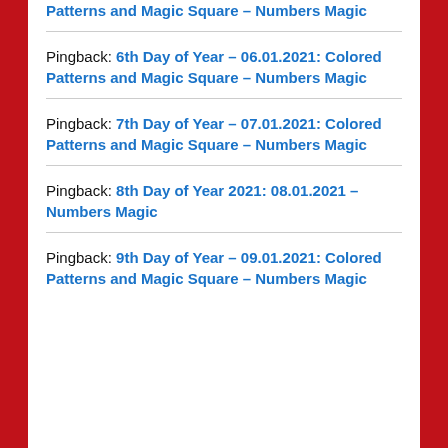Pingback: Patterns and Magic Square – Numbers Magic
Pingback: 6th Day of Year – 06.01.2021: Colored Patterns and Magic Square – Numbers Magic
Pingback: 7th Day of Year – 07.01.2021: Colored Patterns and Magic Square – Numbers Magic
Pingback: 8th Day of Year 2021: 08.01.2021 – Numbers Magic
Pingback: 9th Day of Year – 09.01.2021: Colored Patterns and Magic Square – Numbers Magic